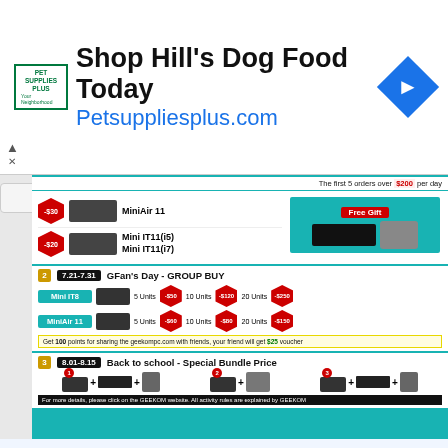[Figure (infographic): Pet Supplies Plus advertisement banner for Hill's Dog Food with logo, headline, URL, and blue diamond arrow icon]
[Figure (infographic): GEEKOM mini PC promotional banner showing GFan's Day deals with MiniAir 11 and Mini IT11 products with discount badges, free gift offer, GROUP BUY pricing, and Back to school bundle deal]
[Figure (infographic): GEEKOM Mini S mini PC product advertisement showing blue title box with 'MINI S', subtitle 'MINI OFFICE COMPUTER' and device image]